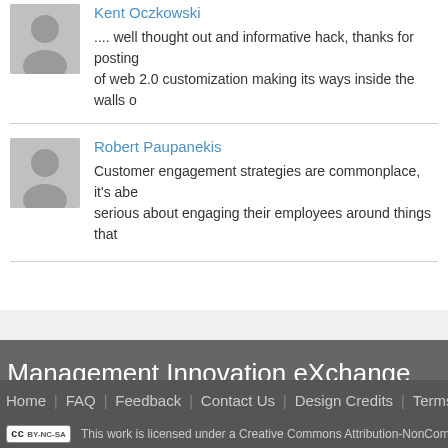Kent Oczkowski
.... well thought out and informative hack, thanks for posting of web 2.0 customization making its ways inside the walls o
Robert Paupanekis
Customer engagement strategies are commonplace, it's abe serious about engaging their employees around things that
Management Innovation eXchange
Home | FAQ | Feedback | Contact Us | Design Credits | Terms o
This work is licensed under a Creative Commons Attribution-NonComme